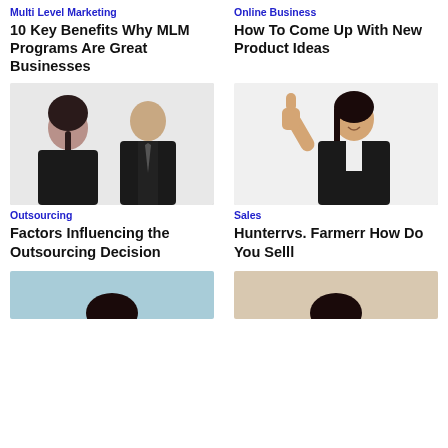Multi Level Marketing
10 Key Benefits Why MLM Programs Are Great Businesses
Online Business
How To Come Up With New Product Ideas
[Figure (photo): Two business people in suits facing each other in a meeting/interview setting]
Outsourcing
Factors Influencing the Outsourcing Decision
[Figure (photo): Young Asian businesswoman in black blazer giving thumbs up gesture and smiling]
Sales
Hunterrvs. Farmerr How Do You Selll
[Figure (photo): Person at bottom left, partial view, light blue tones]
[Figure (photo): Person at bottom right, partial view, warm tones]